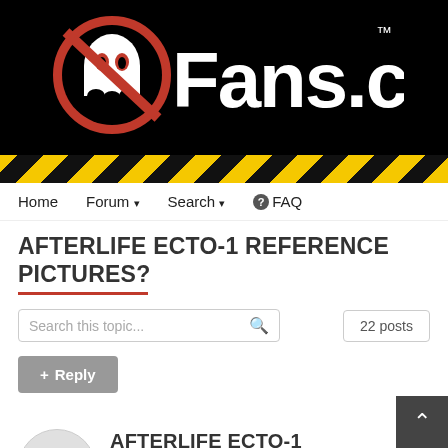[Figure (logo): GBFans.com logo on black background with Ghostbusters ghost icon and red/white design, with yellow and black hazard stripe bar below]
Home   Forum ▾   Search ▾   ❓FAQ
AFTERLIFE ECTO-1 REFERENCE PICTURES?
Search this topic...   22 posts
+ Reply
AFTERLIFE ECTO-1 REFERENCE
By Buster1138